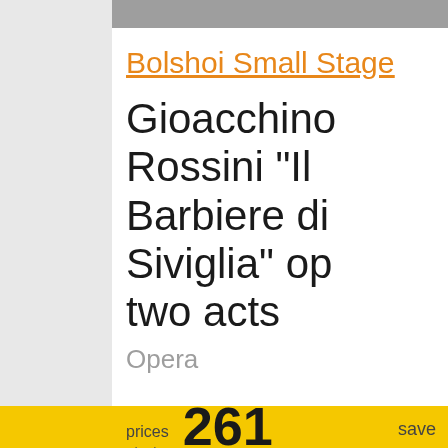Bolshoi Small Stage
Gioacchino Rossini "Il Barbiere di Siviglia" op two acts
Opera
prices start from  261 US$  save up to